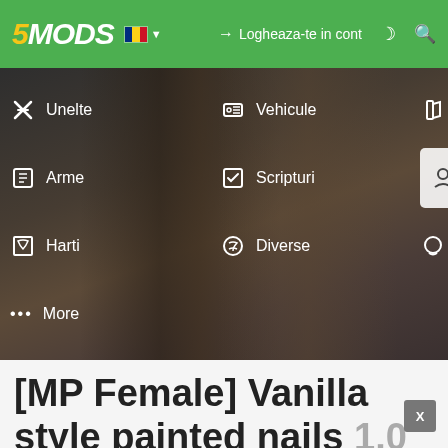5MODS — Logheaza-te in cont
[Figure (screenshot): Navigation menu overlay on a blurred dark background showing menu items: Unelte, Arme, Harti, More (left column), Vehicule, Scripturi, Diverse (middle column), Paint Jobs, Caracter (highlighted), Forums (right column)]
[MP Female] Vanilla style painted nails 1.0